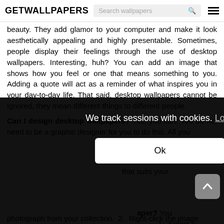GETWALLPAPERS  Search wallpapers  ☰
beauty. They add glamor to your computer and make it look aesthetically appealing and highly presentable. Sometimes, people display their feelings through the use of desktop wallpapers. Interesting, huh? You can add an image that shows how you feel or one that means something to you. Adding a quote will act as a reminder of what inspires you in your day-to-day life. That said, desktop wallpapers cannot be ignored, they mean different things to different people.
Can I design desktop wallpapers? Yes, you can! You do not need to be a graphic designer for you to do this. All you [as wallpapers, that suits your
We track sessions with cookies. Look
Ok
aper? You 1. Select a
photograph from your collection. 2. Right-click the image